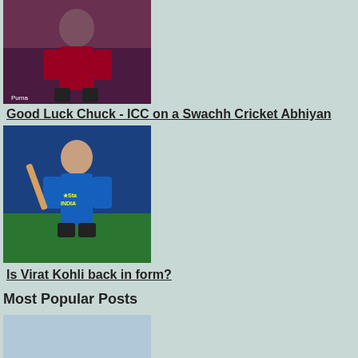[Figure (photo): Cricket player in West Indies jersey (red uniform), appears to be bowling or celebrating]
Good Luck Chuck - ICC on a Swachh Cricket Abhiyan
[Figure (photo): Virat Kohli batting in India blue jersey]
Is Virat Kohli back in form?
Most Popular Posts
[Figure (photo): Aerial view of a cricket stadium with green oval pitch]
Top 10 Best Cricket Stadiums in the World
[Figure (photo): Cricket player in South Africa green jersey batting]
Top 10 Highest Run Chases in ODI Cricket
[Figure (photo): Partial cricket photo at bottom of page]